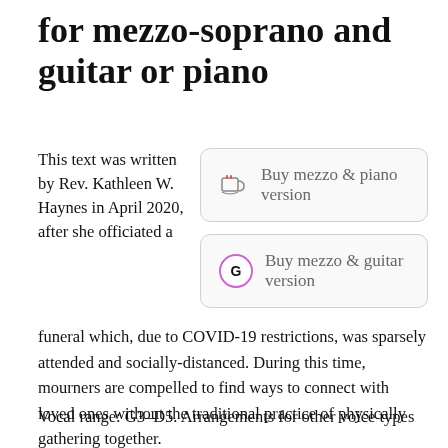for mezzo-soprano and guitar or piano
This text was written by Rev. Kathleen W. Haynes in April 2020, after she officiated a funeral which, due to COVID-19 restrictions, was sparsely attended and socially-distanced. During this time, mourners are compelled to find ways to connect with loved ones without the traditional practice of physically gathering together.
[Figure (screenshot): Button: Buy mezzo & piano version with coffee cup icon]
[Figure (screenshot): Button: Buy mezzo & guitar version with G icon]
Vocal range: G3–D5. Arrangements for other voice types